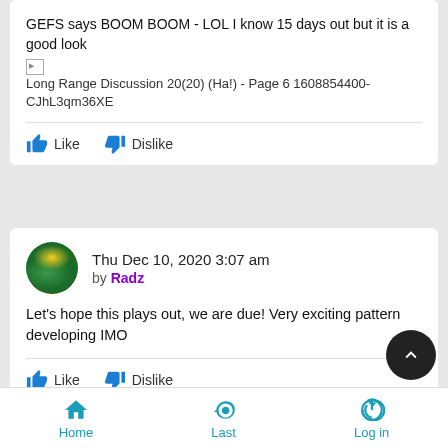GEFS says BOOM BOOM - LOL I know 15 days out but it is a good look
[Figure (screenshot): Broken image placeholder with caption: Long Range Discussion 20(20) (Ha!) - Page 6 1608854400-CJhL3qm36XE]
Like  Dislike
Thu Dec 10, 2020 3:07 am by Radz
Let's hope this plays out, we are due! Very exciting pattern developing IMO
Like  Dislike
Home  Last  Log in